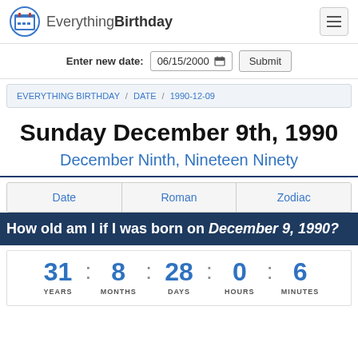Everything Birthday
Enter new date: 06/15/2000 Submit
EVERYTHING BIRTHDAY / DATE / 1990-12-09
Sunday December 9th, 1990
December Ninth, Nineteen Ninety
Date | Roman | Zodiac
How old am I if I was born on December 9, 1990?
31 YEARS : 8 MONTHS : 28 DAYS : 0 HOURS : 6 MINUTES